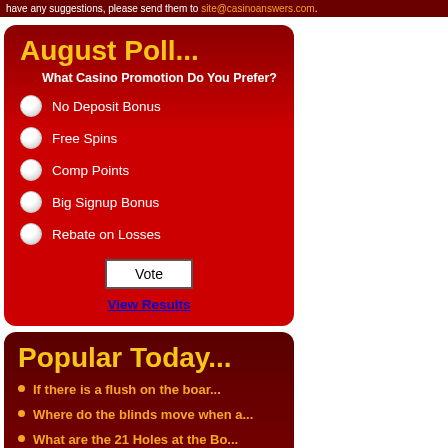have any suggestions, please send them to site@casinoanswers.com.
August Poll...
What Casino Promotion Do You Prefer?
No Deposit Bonus
Free Spins
Comp Points
Big Signup Bonus
Rebate on Losses
Vote
View Results
Popular Today...
If there is a flush on the boar...
Where do the blinds move when a...
What are the 21 Holes at the Bo...
What Is A Push?